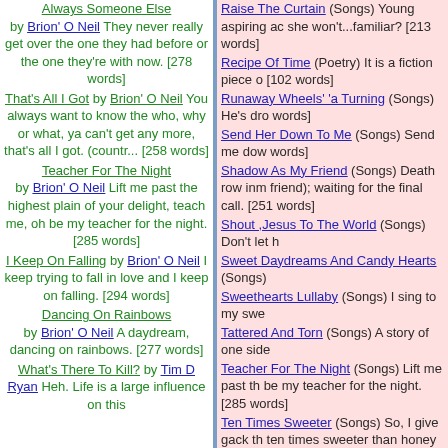Always Someone Else by Brion' O Neil They never really get over the one they had before or the one they're with now. [278 words]
That's All I Got by Brion' O Neil You always want to know the who, why or what, ya can't get any more, that's all I got. (countr... [258 words]
Teacher For The Night by Brion' O Neil Lift me past the highest plain of your delight, teach me, oh be my teacher for the night. [285 words]
I Keep On Falling by Brion' O Neil I keep trying to fall in love and I keep on falling. [294 words]
Dancing On Rainbows by Brion' O Neil A daydream, dancing on rainbows. [277 words]
What's There To Kill? by Tim D Ryan Heh. Life is a large influence on this
Raise The Curtain (Songs) Young aspiring ac she won't...familiar? [213 words]
Recipe Of Time (Poetry) It is a fiction piece o [102 words]
Runaway Wheels' 'a Turning (Songs) He's dro words]
Send Her Down To Me (Songs) Send me dow words]
Shadow As My Friend (Songs) Death row inm friend); waiting for the final call. [251 words]
Shout ,Jesus To The World (Songs) Don't let h
Sweet Daydreams And Candy Hearts (Songs)
Sweethearts Lullaby (Songs) I sing to my swe
Tattered And Torn (Songs) A story of one side
Teacher For The Night (Songs) Lift me past th be my teacher for the night. [285 words]
Ten Times Sweeter (Songs) So, I give gack th ten times sweeter than honey from the bee. [2
That's All I Got (Songs) You always want to kn more, that's all I got. (country version) [258 wo
The Dawn Is You (Songs) The most that it car
The Natural Part Of You (Songs) I fell in love w
The Only Gods (Poetry) This piece will chang Gods keep track of all the prayers that they re
The Other Side Of The Mirror (Songs) We nev [227 words]
The Right To Tried Up (Song) The life of M